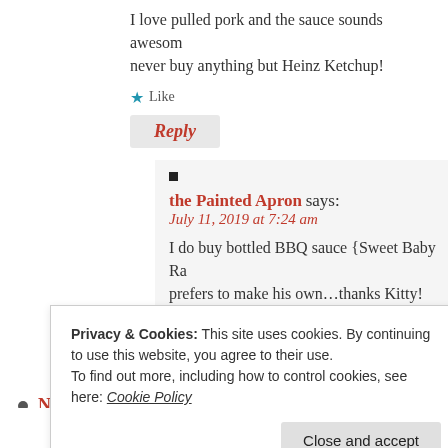I love pulled pork and the sauce sounds aweso never buy anything but Heinz Ketchup!
Like
Reply
the Painted Apron says: July 11, 2019 at 7:24 am
I do buy bottled BBQ sauce {Sweet Baby Ra prefers to make his own…thanks Kitty!
Like
Reply
Nancy says:
Privacy & Cookies: This site uses cookies. By continuing to use this website, you agree to their use.
To find out more, including how to control cookies, see here: Cookie Policy
Close and accept
Alice v-DIYerry says: July 12, 2019 at 6:03 am